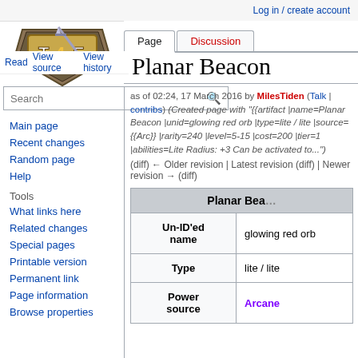Log in / create account
Planar Beacon
as of 02:24, 17 March 2016 by MilesTiden (Talk | contribs) (Created page with "{{artifact |name=Planar Beacon |unid=glowing red orb |type=lite / lite |source={{Arc}} |rarity=240 |level=5-15 |cost=200 |tier=1 |abilities=Lite Radius: +3 Can be activated to...")
(diff) ← Older revision | Latest revision (diff) | Newer revision → (diff)
| Planar Beacon |  |
| --- | --- |
| Un-ID'ed name | glowing red orb |
| Type | lite / lite |
| Power source | Arcane |
Main page
Recent changes
Random page
Help
What links here
Related changes
Special pages
Printable version
Permanent link
Page information
Browse properties